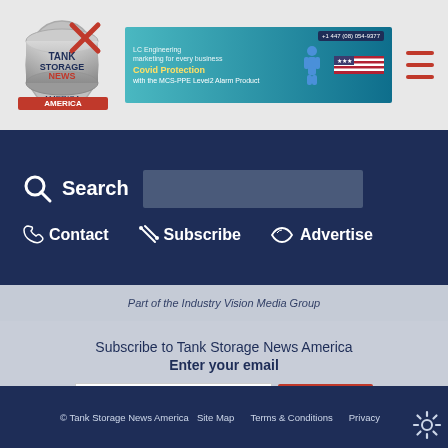[Figure (logo): Tank Storage News America logo with red/silver design]
[Figure (photo): Advertisement banner with teal/blue background, text about Covid Protection and MCS-PPE Level2 Alarm Product]
Search
Contact
Subscribe
Advertise
Part of the Industry Vision Media Group
Subscribe to Tank Storage News America
Enter your email
> SEND
We would like to keep in touch with you, send you industry news and company information. Please tick the box if you would like to be contacted by us.
© Tank Storage News America   Site Map   Terms & Conditions   Privacy